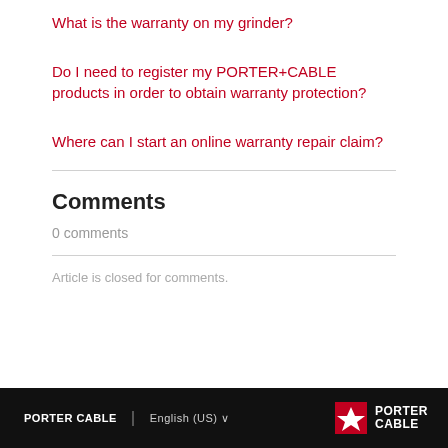What is the warranty on my grinder?
Do I need to register my PORTER+CABLE products in order to obtain warranty protection?
Where can I start an online warranty repair claim?
Comments
0 comments
Article is closed for comments.
PORTER CABLE | English (US) | PORTER CABLE logo